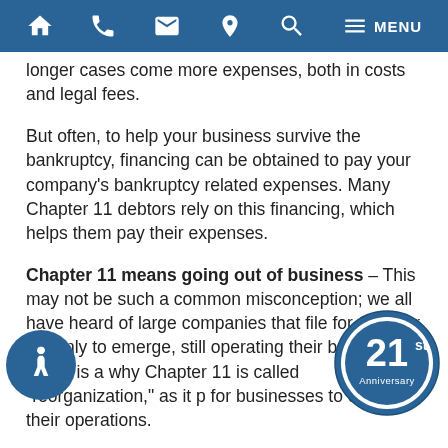Navigation bar with home, phone, email, location, search, and menu icons
longer cases come more expenses, both in costs and legal fees.
But often, to help your business survive the bankruptcy, financing can be obtained to pay your company’s bankruptcy related expenses. Many Chapter 11 debtors rely on this financing, which helps them pay their expenses.
Chapter 11 means going out of business – This may not be such a common misconception; we all have heard of large companies that file for Chapter 11, only to emerge, still operating their business. There is a why Chapter 11 is called “reorganization,” as it p for businesses to continue their operations.
Many come out of bankruptcy even stronger than they were beforehand (think of comics, and now movie giant, Marvel which filed for bankruptcy in the 90s)
[Figure (logo): 21st Anniversary badge/seal in blue and white]
[Figure (logo): Wheelchair accessibility icon badge in blue circle]